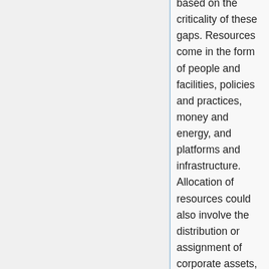based on the criticality of these gaps. Resources come in the form of people and facilities, policies and practices, money and energy, and platforms and infrastructure. Allocation of resources could also involve the distribution or assignment of corporate assets, like communication bandwidth, manufacturing floor space, computing power, intellectual property licenses, and so on. Resource allocation and budgeting is typically